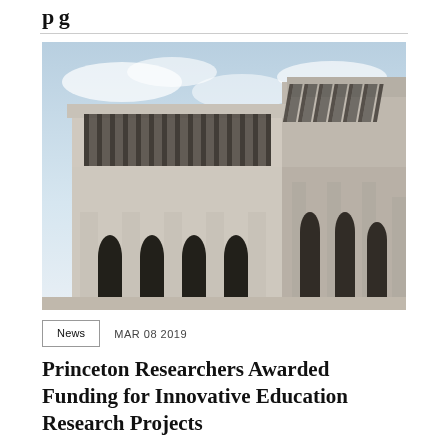p g
[Figure (photo): Corner view of a modernist university building with vertical concrete fins along the upper facade and arched columns at the base, shot against a partly cloudy sky]
News   MAR 08 2019
Princeton Researchers Awarded Funding for Innovative Education Research Projects